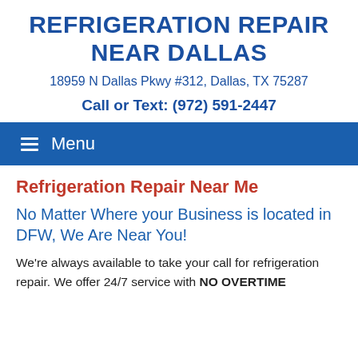REFRIGERATION REPAIR NEAR DALLAS
18959 N Dallas Pkwy #312, Dallas, TX 75287
Call or Text: (972) 591-2447
≡ Menu
Refrigeration Repair Near Me
No Matter Where your Business is located in DFW, We Are Near You!
We're always available to take your call for refrigeration repair. We offer 24/7 service with NO OVERTIME